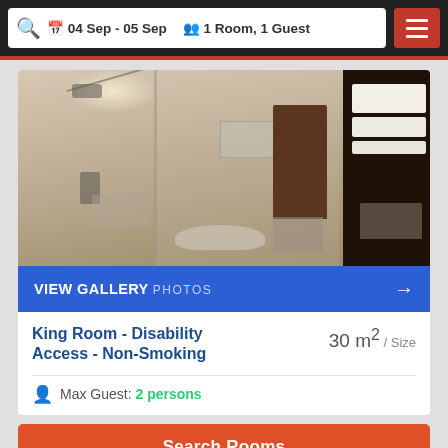04 Sep - 05 Sep   1 Room, 1 Guest
[Figure (photo): Hotel King Room bathroom with walk-in shower, glass panel, dark wooden shelving unit with white towels, and vanity area.]
VIEW GALLERY  PHOTOS
King Room - Disability Access - Non-Smoking
30 m² / Size
Max Guest: 2 persons
Search Rooms